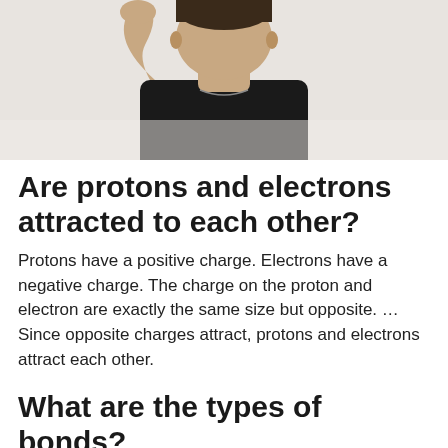[Figure (photo): A man in a black t-shirt with his hand raised behind his head, photographed from the chest up against a white background.]
Are protons and electrons attracted to each other?
Protons have a positive charge. Electrons have a negative charge. The charge on the proton and electron are exactly the same size but opposite. … Since opposite charges attract, protons and electrons attract each other.
What are the types of bonds?
There are three primary types of bonding: